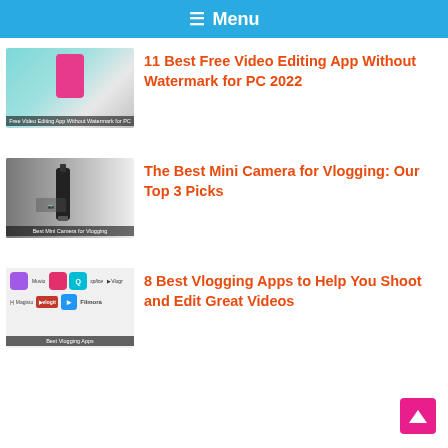≡ Menu
[Figure (screenshot): Thumbnail image for video editing app article showing a pink phone and app interface with teal background]
11 Best Free Video Editing App Without Watermark for PC 2022
[Figure (photo): Thumbnail image of a person holding a small black gimbal/mini camera against a gray gradient background]
The Best Mini Camera for Vlogging: Our Top 3 Picks
[Figure (screenshot): Thumbnail showing various vlogging app icons including GoPro Quik, Splice, Vlogr, VlogIt, Filmora on a light background]
8 Best Vlogging Apps to Help You Shoot and Edit Great Videos